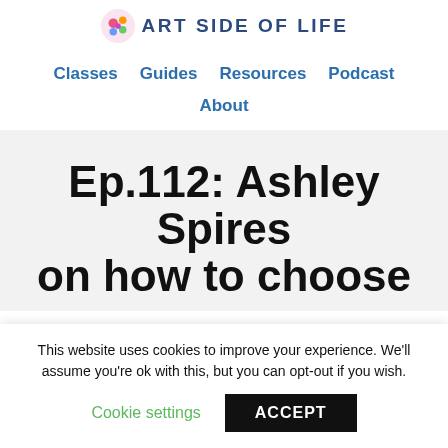ART SIDE OF LIFE
Classes   Guides   Resources   Podcast
About
Ep.112: Ashley Spires on how to choose
This website uses cookies to improve your experience. We'll assume you're ok with this, but you can opt-out if you wish.
Cookie settings   ACCEPT